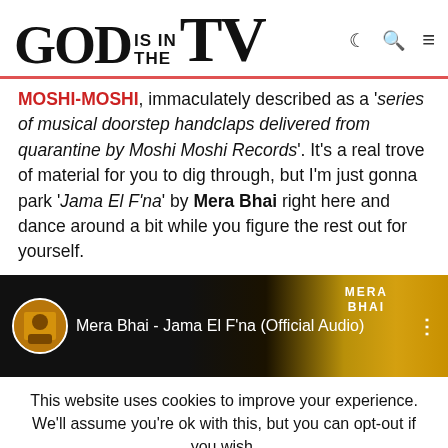GOD IS IN THE TV
MOSHI-MOSHI, immaculately described as a 'series of musical doorstep handclaps delivered from quarantine by Moshi Moshi Records'. It's a real trove of material for you to dig through, but I'm just gonna park 'Jama El F'na' by Mera Bhai right here and dance around a bit while you figure the rest out for yourself.
[Figure (screenshot): YouTube embedded video player showing 'Mera Bhai - Jama El F'na (Official Audio)' with a dark background, channel avatar on the left, video title in white text, and three-dot menu icon on the right.]
This website uses cookies to improve your experience. We'll assume you're ok with this, but you can opt-out if you wish.
Accept   Reject   Read More